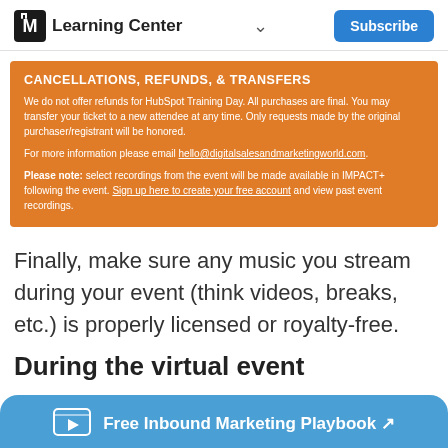Learning Center
CANCELLATIONS, REFUNDS, & TRANSFERS
We do not offer refunds for HubSpot Training Day. All purchases are final. You may transfer your ticket to a new attendee at any time. Only requests made by the original purchaser/registrant will be honored.
For more information please email hello@digitalsalesandmarketingworld.com.
Please note: select recordings from the event will be made available in IMPACT+ following the event. Sign up here to create your free account and view past event recordings.
Finally, make sure any music you stream during your event (think videos, breaks, etc.) is properly licensed or royalty-free.
During the virtual event
Free Inbound Marketing Playbook ↗